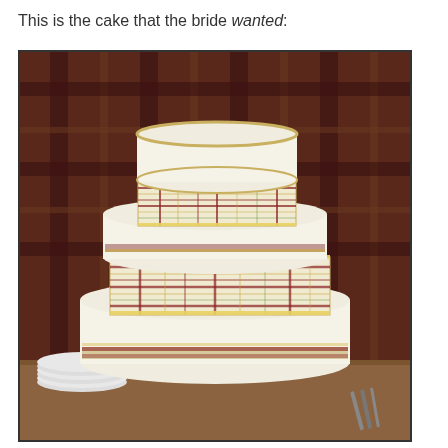This is the cake that the bride wanted:
[Figure (photo): A four-tiered wedding cake with white smooth frosting on the round tiers and Burberry-style plaid pattern decorations on the square/hexagonal tiers. The cake sits on a wooden table with stacked white plates visible to the left and silverware to the right. The background is a dark red/maroon plaid fabric.]